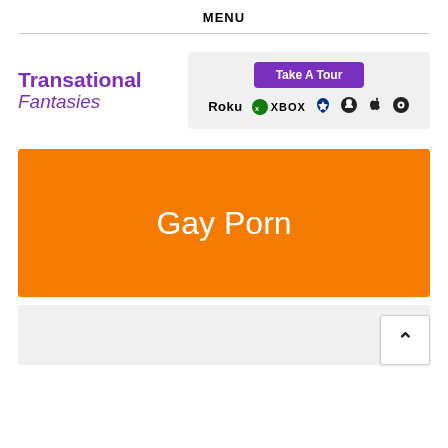MENU
[Figure (logo): Transational Fantasies logo with purple bold text and italic subtitle, alongside a Take A Tour button and platform icons: Roku, Xbox, PlayStation, Android, Apple, Chrome]
[Figure (infographic): Orange banner block with white text reading 'Gay Porn']
[Figure (other): Light gray block at bottom with white scroll-to-top arrow button in bottom right corner]